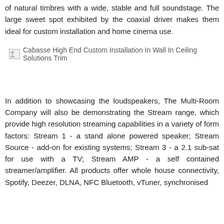of natural timbres with a wide, stable and full soundstage. The large sweet spot exhibited by the coaxial driver makes them ideal for custom installation and home cinema use.
[Figure (photo): Cabasse High End Custom Installation In Wall In Ceiling Solutions Trim (broken image placeholder)]
In addition to showcasing the loudspeakers, The Multi-Room Company will also be demonstrating the Stream range, which provide high resolution streaming capabilities in a variety of form factors: Stream 1 - a stand alone powered speaker; Stream Source - add-on for existing systems; Stream 3 - a 2.1 sub-sat for use with a TV; Stream AMP - a self contained streamer/amplifier. All products offer whole house connectivity, Spotify, Deezer, DLNA, NFC Bluetooth, vTuner, synchronised